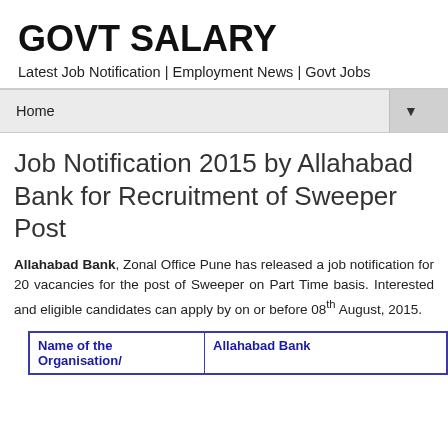GOVT SALARY
Latest Job Notification | Employment News | Govt Jobs
Home ▼
Job Notification 2015 by Allahabad Bank for Recruitment of Sweeper Post
Allahabad Bank, Zonal Office Pune has released a job notification for 20 vacancies for the post of Sweeper on Part Time basis. Interested and eligible candidates can apply by on or before 08th August, 2015.
| Name of the Organisation/ | Allahabad Bank |
| --- | --- |